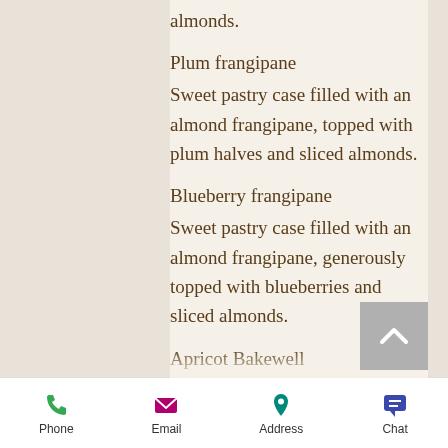almonds.
Plum frangipane
Sweet pastry case filled with an almond frangipane, topped with plum halves and sliced almonds.
Blueberry frangipane
Sweet pastry case filled with an almond frangipane, generously topped with blueberries and sliced almonds.
Apricot Bakewell
Sweet pastry case filled with an almond frangipane, topped with apricot halves and sliced almonds.
Baby pear, honey & almond
Sweet pastry case filled with an almond
Phone  Email  Address  Chat